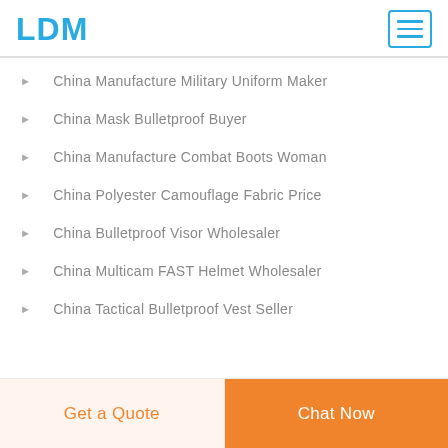LDM
China Manufacture Military Uniform Maker
China Mask Bulletproof Buyer
China Manufacture Combat Boots Woman
China Polyester Camouflage Fabric Price
China Bulletproof Visor Wholesaler
China Multicam FAST Helmet Wholesaler
China Tactical Bulletproof Vest Seller
Get a Quote | Chat Now